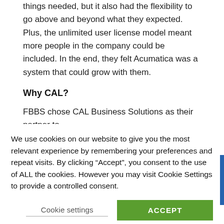things needed, but it also had the flexibility to go above and beyond what they expected. Plus, the unlimited user license model meant more people in the company could be included. In the end, they felt Acumatica was a system that could grow with them.
Why CAL?
FBBS chose CAL Business Solutions as their partner to implement their new ERP system. Why? They felt CAL had the reliability and professionalism they valued. It turns out the local CAL view also has access to that functionality...
Notice why Steve Slaughter, President/CEO of FBBS, says he chose to w...
We use cookies on our website to give you the most relevant experience by remembering your preferences and repeat visits. By clicking “Accept”, you consent to the use of ALL the cookies. However you may visit Cookie Settings to provide a controlled consent.
Cookie settings
ACCEPT